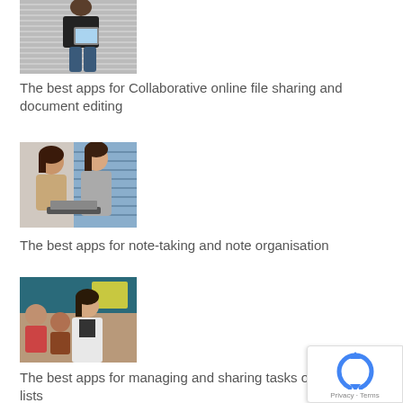[Figure (photo): Partial image of a person holding a tablet, seated outdoors on steps — cropped at top]
The best apps for Collaborative online file sharing and document editing
[Figure (photo): Two women sitting at a desk with a laptop, smiling and talking]
The best apps for note-taking and note organisation
[Figure (photo): A woman in a white jacket talking with people at a table in a classroom or library setting]
The best apps for managing and sharing tasks or to-do lists
[Figure (photo): People browsing items in what appears to be a library or store with shelves — partially cropped]